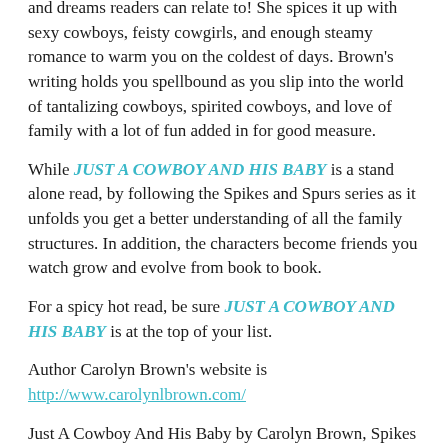and dreams readers can relate to! She spices it up with sexy cowboys, feisty cowgirls, and enough steamy romance to warm you on the coldest of days. Brown's writing holds you spellbound as you slip into the world of tantalizing cowboys, spirited cowboys, and love of family with a lot of fun added in for good measure.
While JUST A COWBOY AND HIS BABY is a stand alone read, by following the Spikes and Spurs series as it unfolds you get a better understanding of all the family structures. In addition, the characters become friends you watch grow and evolve from book to book.
For a spicy hot read, be sure JUST A COWBOY AND HIS BABY is at the top of your list.
Author Carolyn Brown's website is http://www.carolynlbrown.com/
Just A Cowboy And His Baby by Carolyn Brown, Spikes and Spurs Series, Second volume, Goodkay, ©2012, ISBN